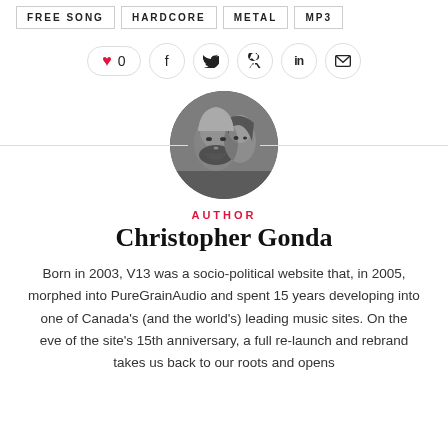FREE SONG
HARDCORE
METAL
MP3
♥ 0  f  t  p  in  ✉
[Figure (photo): Circular black and white author photo showing two people, a man with a beard in front and a woman behind him.]
AUTHOR
Christopher Gonda
Born in 2003, V13 was a socio-political website that, in 2005, morphed into PureGrainAudio and spent 15 years developing into one of Canada's (and the world's) leading music sites. On the eve of the site's 15th anniversary, a full re-launch and rebrand takes us back to our roots and opens